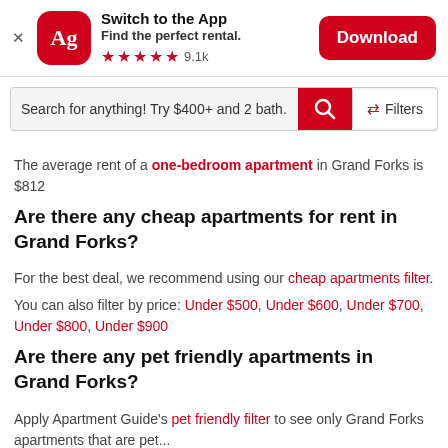[Figure (screenshot): App banner with Apartment Guide logo (Ag), 'Switch to the App', star rating 9.1k, and Download button]
[Figure (screenshot): Search bar with placeholder text 'Search for anything! Try $400+ and 2 bath.' with red search button and Filters button]
The average rent of a one-bedroom apartment in Grand Forks is $812
Are there any cheap apartments for rent in Grand Forks?
For the best deal, we recommend using our cheap apartments filter.
You can also filter by price: Under $500, Under $600, Under $700, Under $800, Under $900
Are there any pet friendly apartments in Grand Forks?
Apply Apartment Guide's pet friendly filter to see only Grand Forks apartments that are pet...